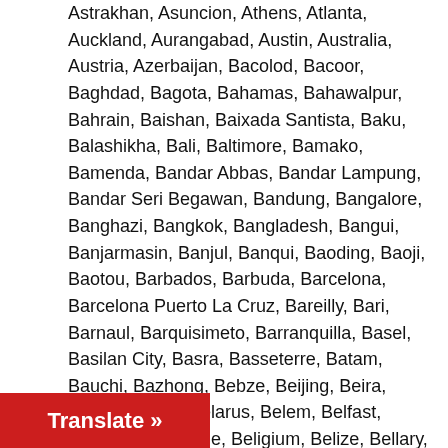Astrakhan, Asuncion, Athens, Atlanta, Auckland, Aurangabad, Austin, Australia, Austria, Azerbaijan, Bacolod, Bacoor, Baghdad, Bagota, Bahamas, Bahawalpur, Bahrain, Baishan, Baixada Santista, Baku, Balashikha, Bali, Baltimore, Bamako, Bamenda, Bandar Abbas, Bandar Lampung, Bandar Seri Begawan, Bandung, Bangalore, Banghazi, Bangkok, Bangladesh, Bangui, Banjarmasin, Banjul, Banqui, Baoding, Baoji, Baotou, Barbados, Barbuda, Barcelona, Barcelona Puerto La Cruz, Bareilly, Bari, Barnaul, Barquisimeto, Barranquilla, Basel, Basilan City, Basra, Basseterre, Batam, Bauchi, Bazhong, Bebze, Beijing, Beira, Beirut, Bekasi, Belarus, Belem, Belfast, Belgaum, Belgrade, Beligium, Belize, Bellary, Belmopan, Belo Horizonte, Bengbu, Benguela, Benin, Benin City, Benxi, Bergamo, Berlin, Bern, Be'er Sheva, Bhavnagar, Bhiwandi, Bhopal, Bhubaneswar, Bhutan, Bien Hoa, Bijie, Bikaner, Bilaspur, Binzhou, Birmingham, Bishkek, Bissau, Blantyre Limbe, Bloemfontein, Bobo Dioulasso, Bogor, Bogota, Bogra, Bokaro Steel City, Bolivia, Bordeaux, Bosnia, Boston, Botswana, Bouake, Bournemouth, Bozhou, Brabant, Brasilia, Bratislava, Brazil, Brazzaville, Bremen, Bridgetown, Brighton, Brisbane, Bristol, Bruga, Brunei, Brussels, Bucaramanga, Bucharest, Bucheon, Budapest, Buenos Aires, Buffalo City, Bujumbura, Bukavu, Bulawayo, Bulgaria, Bunia, Bur Sa'id, Buraydah, Burkina Faso, Burma, Bursa, Burundi, Busan, Busto Arsizio, Cabimas, Cabinda, Cagayan De Oro City, Cairo, Calabar, Calamba, Cambodia, Cameroon, Campinas, Campo Grande,
[Figure (other): Red 'Translate »' button overlay at bottom left]